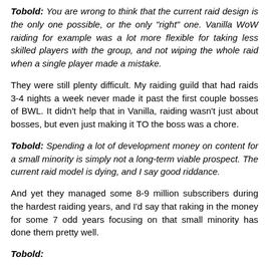Tobold: You are wrong to think that the current raid design is the only one possible, or the only "right" one. Vanilla WoW raiding for example was a lot more flexible for taking less skilled players with the group, and not wiping the whole raid when a single player made a mistake.
They were still plenty difficult. My raiding guild that had raids 3-4 nights a week never made it past the first couple bosses of BWL. It didn't help that in Vanilla, raiding wasn't just about bosses, but even just making it TO the boss was a chore.
Tobold: Spending a lot of development money on content for a small minority is simply not a long-term viable prospect. The current raid model is dying, and I say good riddance.
And yet they managed some 8-9 million subscribers during the hardest raiding years, and I'd say that raking in the money for some 7 odd years focusing on that small minority has done them pretty well.
Tobold: I am not sure you would disagree with me if...